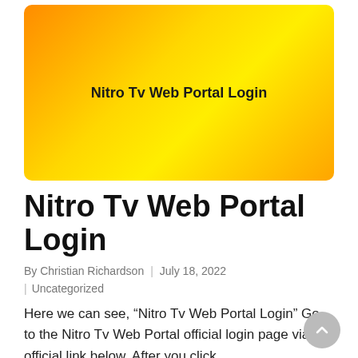[Figure (illustration): Orange-to-yellow gradient banner with rounded corners containing the text 'Nitro Tv Web Portal Login' in bold black.]
Nitro Tv Web Portal Login
By Christian Richardson  |  July 18, 2022
|  Uncategorized
Here we can see, “Nitro Tv Web Portal Login” Go to the Nitro Tv Web Portal official login page via our official link below. After you click…